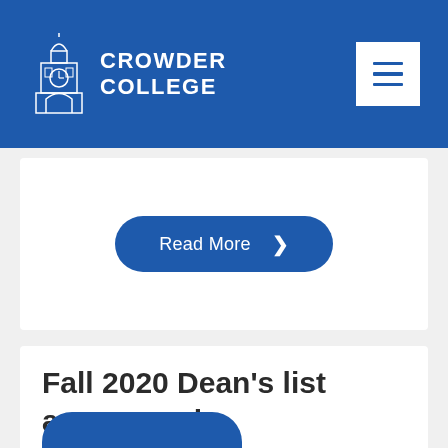CROWDER COLLEGE
[Figure (screenshot): Read More button with right arrow chevron on blue pill-shaped background]
Fall 2020 Dean's list announced